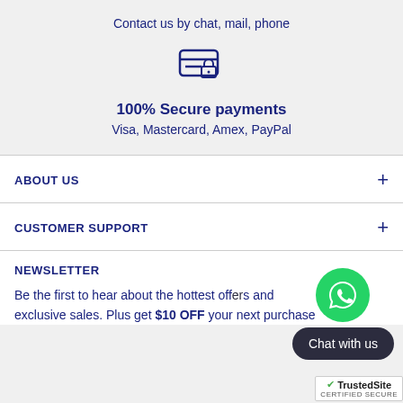Contact us by chat, mail, phone
[Figure (illustration): Secure payment icon: credit card with a padlock]
100% Secure payments
Visa, Mastercard, Amex, PayPal
ABOUT US
CUSTOMER SUPPORT
NEWSLETTER
Be the first to hear about the hottest off... and exclusive sales. Plus get $10 OFF your next purchase
[Figure (illustration): WhatsApp green phone icon button and Chat with us dark bubble]
[Figure (logo): TrustedSite CERTIFIED SECURE badge]